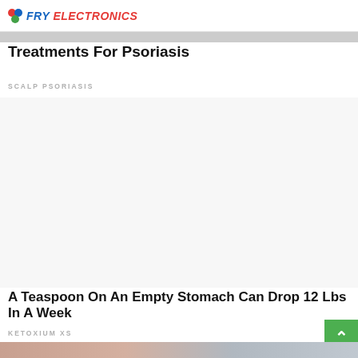FRY ELECTRONICS
Treatments For Psoriasis
SCALP PSORIASIS
[Figure (other): Advertisement area (blank/white space)]
A Teaspoon On An Empty Stomach Can Drop 12 Lbs In A Week
KETOXIUM XS
[Figure (photo): Partial photo strip at bottom showing people]
Facebook share | Twitter share